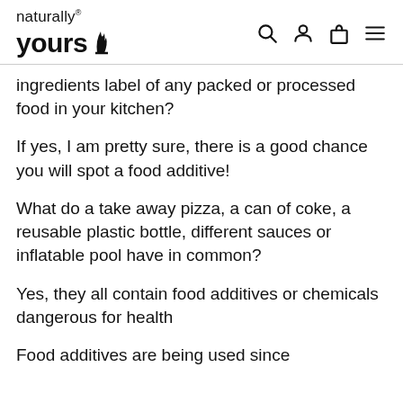naturally yours® [search] [account] [cart] [menu]
ingredients label of any packed or processed food in your kitchen?
If yes, I am pretty sure, there is a good chance you will spot a food additive!
What do a take away pizza, a can of coke, a reusable plastic bottle, different sauces or inflatable pool have in common?
Yes, they all contain food additives or chemicals dangerous for health
Food additives are being used since